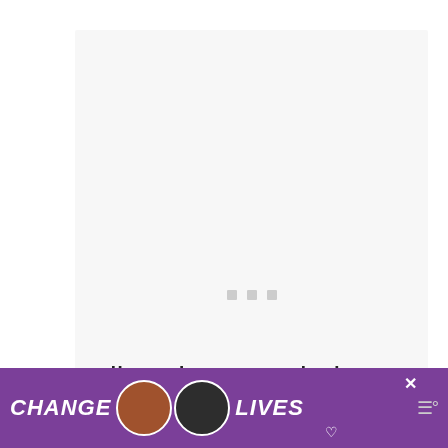[Figure (other): Loading placeholder area with three small gray square dots centered, indicating content is loading]
Follow the steps below to know how to play the Filler game on
[Figure (other): Advertisement banner with purple background showing 'CHANGE LIVES' text with two cat photos, a close button X, and a logo with sound waves icon]